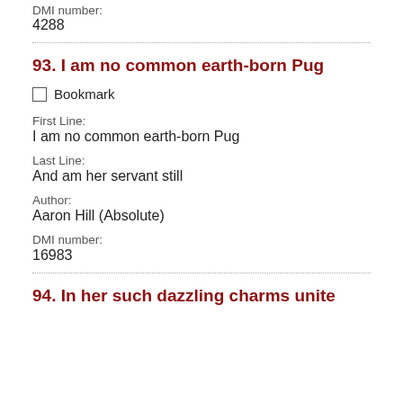DMI number:
4288
93. I am no common earth-born Pug
Bookmark
First Line:
I am no common earth-born Pug
Last Line:
And am her servant still
Author:
Aaron Hill (Absolute)
DMI number:
16983
94. In her such dazzling charms unite